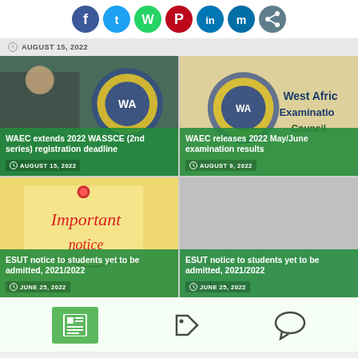[Figure (other): Social media share icons: Facebook, Twitter, WhatsApp, Pinterest, LinkedIn, Messenger, Share]
AUGUST 15, 2022
[Figure (photo): Student with WAEC logo in background - WAEC extends 2022 WASSCE (2nd series) registration deadline, AUGUST 15, 2022]
[Figure (photo): WAEC West African Examination Council logo - WAEC releases 2022 May/June examination results, AUGUST 9, 2022]
[Figure (photo): Important notice sticky note pinned - ESUT notice to students yet to be admitted, 2021/2022, JUNE 25, 2022]
[Figure (photo): Gray background - ESUT notice to students yet to be admitted, 2021/2022, JUNE 25, 2022]
[Figure (other): Bottom bar with newspaper icon (green box), tag icon, and comment bubble icon]